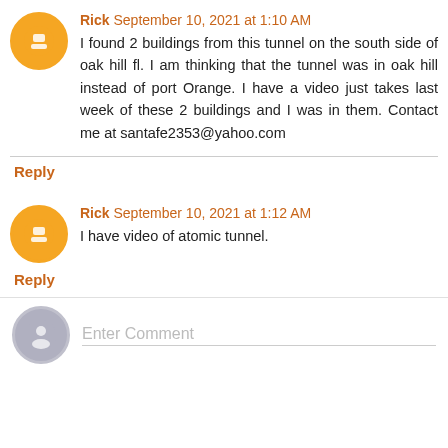Rick September 10, 2021 at 1:10 AM
I found 2 buildings from this tunnel on the south side of oak hill fl. I am thinking that the tunnel was in oak hill instead of port Orange. I have a video just takes last week of these 2 buildings and I was in them. Contact me at santafe2353@yahoo.com
Reply
Rick September 10, 2021 at 1:12 AM
I have video of atomic tunnel.
Reply
Enter Comment